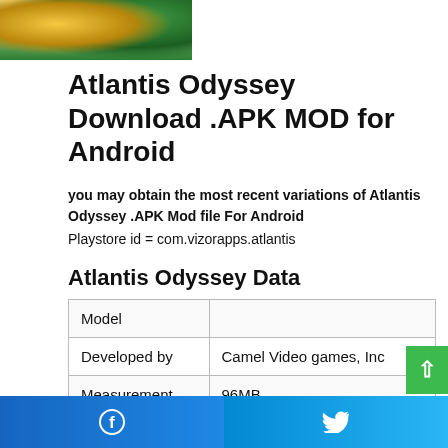[Figure (photo): Partial view of a colorful game screenshot with green and golden tones, cropped at top left]
Atlantis Odyssey Download .APK MOD for Android
you may obtain the most recent variations of Atlantis Odyssey .APK Mod file For Android
Playstore id = com.vizorapps.atlantis
Atlantis Odyssey Data
| Model |  |
| Developed by | Camel Video games, Inc |
| Measurement | 96MB |